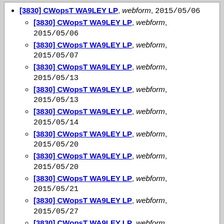[3830] CWopsT WA9LEY LP, webform, 2015/05/06
[3830] CWopsT WA9LEY LP, webform, 2015/05/06
[3830] CWopsT WA9LEY LP, webform, 2015/05/07
[3830] CWopsT WA9LEY LP, webform, 2015/05/13
[3830] CWopsT WA9LEY LP, webform, 2015/05/13
[3830] CWopsT WA9LEY LP, webform, 2015/05/14
[3830] CWopsT WA9LEY LP, webform, 2015/05/20
[3830] CWopsT WA9LEY LP, webform, 2015/05/20
[3830] CWopsT WA9LEY LP, webform, 2015/05/21
[3830] CWopsT WA9LEY LP, webform, 2015/05/27
[3830] CWopsT WA9LEY LP, webform, 2015/05/28
[3830] CWopsT VE3KI QRP, webform, 2015/05/06
[3830] CWopsT VE3KI QRP, webform, 2015/05/06